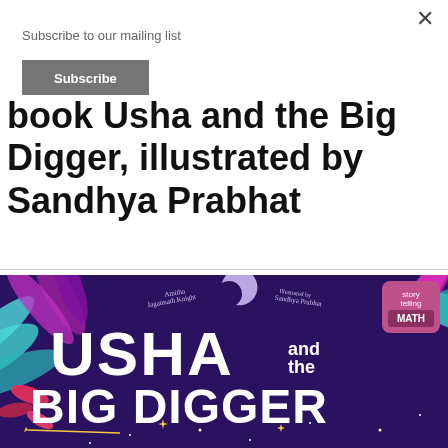Subscribe to our mailing list
Subscribe
book Usha and the Big Digger, illustrated by Sandhya Prabhat
[Figure (illustration): Book cover of 'Usha and the Big Digger' by Amitha Jagannath Knight, illustrated by Sandhya Prabhat. Dark purple background with colorful tropical leaves and butterflies. White decorative lettering spells 'USHA and the BIG DIGGER'. A crescent moon appears in the upper center. A pink badge in the upper right reads 'storytelling MATH'.]